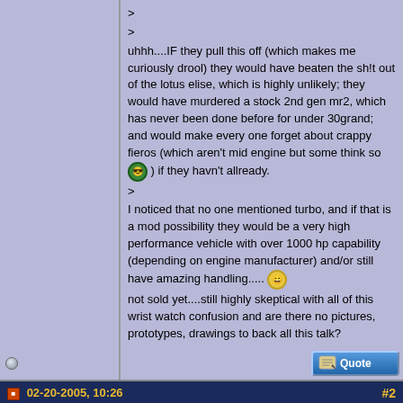>
>
uhhh....IF they pull this off (which makes me curiously drool) they would have beaten the sh!t out of the lotus elise, which is highly unlikely; they would have murdered a stock 2nd gen mr2, which has never been done before for under 30grand; and would make every one forget about crappy fieros (which aren't mid engine but some think so [emoji] ) if they havn't allready.
>
I noticed that no one mentioned turbo, and if that is a mod possibility they would be a very high performance vehicle with over 1000 hp capability (depending on engine manufacturer) and/or still have amazing handling..... [emoji]
not sold yet....still highly skeptical with all of this wrist watch confusion and are there no pictures, prototypes, drawings to back all this talk?
02-20-2005, 10:26 PM   #2
Marc-OS
AF Enthusiast